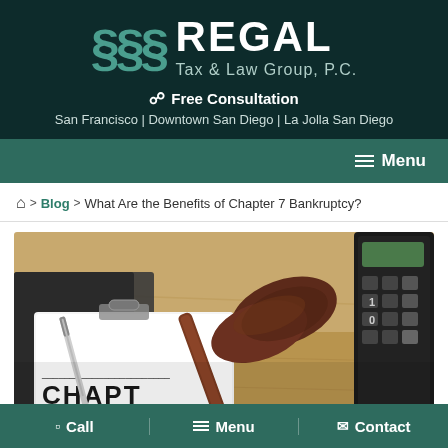[Figure (logo): Regal Tax & Law Group P.C. logo with three section symbols in teal on dark background]
Free Consultation
San Francisco | Downtown San Diego | La Jolla San Diego
Menu
Home > Blog > What Are the Benefits of Chapter 7 Bankruptcy?
[Figure (photo): Photo of a judge's gavel, a clipboard with Chapter document text visible, a pen, and a calculator on a wooden desk surface]
Call | Menu | Contact